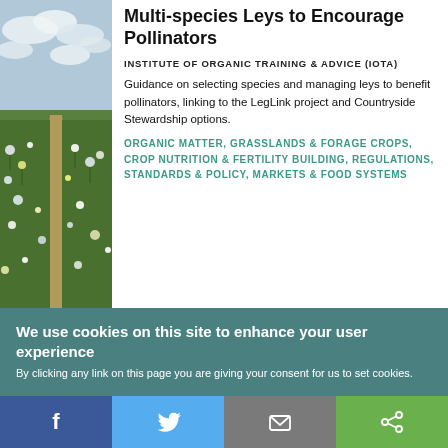[Figure (photo): Field with wildflowers and a path under cloudy sky]
Multi-species Leys to Encourage Pollinators
INSTITUTE OF ORGANIC TRAINING & ADVICE (IOTA) Guidance on selecting species and managing leys to benefit pollinators, linking to the LegLink project and Countryside Stewardship options.
ORGANIC MATTER, GRASSLANDS & FORAGE CROPS, CROP NUTRITION & FERTILITY BUILDING, REGULATIONS, STANDARDS & POLICY, MARKETS & FOOD SYSTEMS
We use cookies on this site to enhance your user experience
By clicking any link on this page you are giving your consent for us to set cookies.